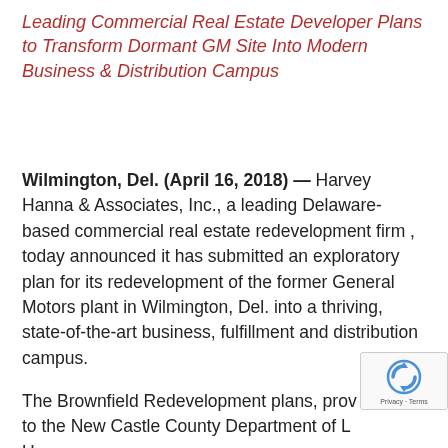Leading Commercial Real Estate Developer Plans to Transform Dormant GM Site Into Modern Business & Distribution Campus
Wilmington, Del. (April 16, 2018) — Harvey Hanna & Associates, Inc., a leading Delaware-based commercial real estate redevelopment firm , today announced it has submitted an exploratory plan for its redevelopment of the former General Motors plant in Wilmington, Del. into a thriving, state-of-the-art business, fulfillment and distribution campus.
The Brownfield Redevelopment plans, prov... to the New Castle County Department of L...
[Figure (other): reCAPTCHA widget with logo and Privacy · Terms label]